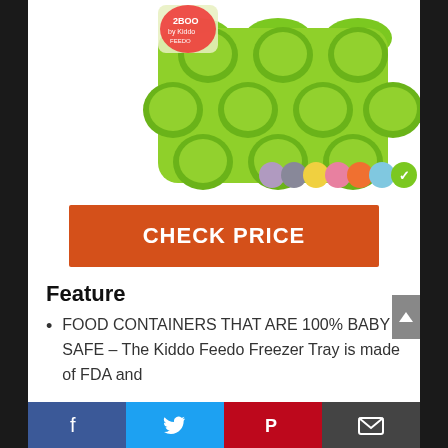[Figure (photo): Green silicone baby food freezer tray with multiple round cups, partially visible product label in top left. Color swatches (purple, gray, yellow, pink, orange, light blue, green with checkmark) shown in bottom right of image area.]
CHECK PRICE
Feature
FOOD CONTAINERS THAT ARE 100% BABY SAFE – The Kiddo Feedo Freezer Tray is made of FDA and